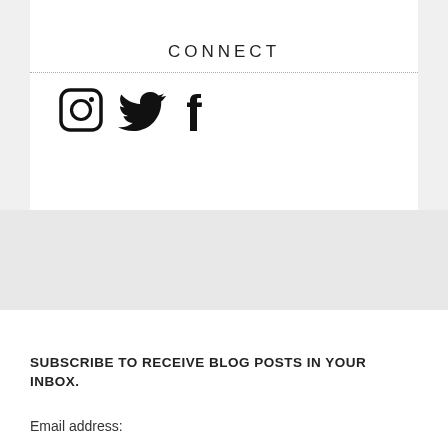CONNECT
[Figure (illustration): Social media icons: Instagram, Twitter, Facebook]
SUBSCRIBE TO RECEIVE BLOG POSTS IN YOUR INBOX.
Email address: